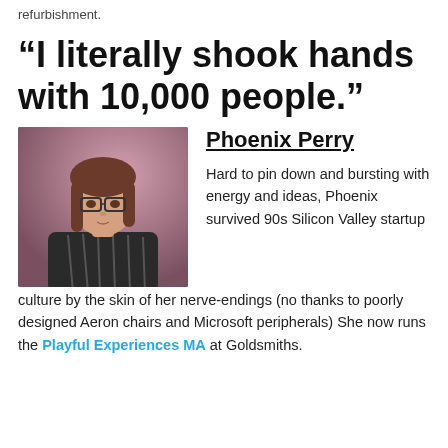refurbishment.
“I literally shook hands with 10,000 people.”
[Figure (photo): Portrait photo of Phoenix Perry, a woman with glasses and long brown hair, wearing a dark patterned top, seated against a warm purple/pink background.]
Phoenix Perry
Hard to pin down and bursting with energy and ideas, Phoenix survived 90s Silicon Valley startup culture by the skin of her nerve-endings (no thanks to poorly designed Aeron chairs and Microsoft peripherals) She now runs the Playful Experiences MA at Goldsmiths.